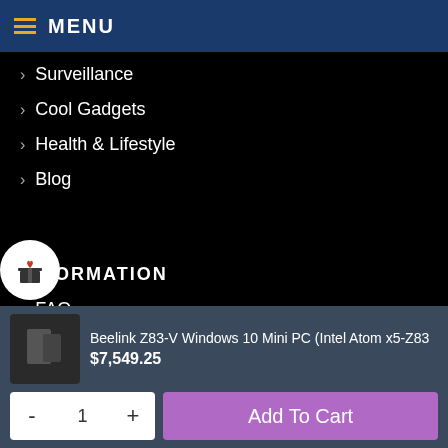MENU
> Surveillance
> Cool Gadgets
> Health & Lifestyle
> Blog
INFORMATION
> FAQ
> Shipping & Delivery
> Refund Policy
> Warranty/Replacement
> Taxes, Customs & Duties
Beelink Z83-V Windows 10 Mini PC (Intel Atom x5-Z83
$7,549.25
- 1 + Add To Cart